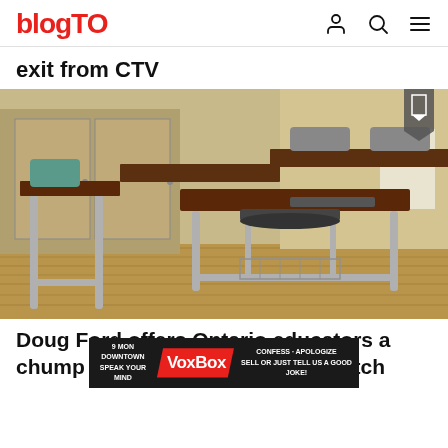blogTO
exit from CTV
[Figure (photo): Empty classroom with school desks and chairs stacked, wooden floor, lockers in background]
Doug Ford offers Ontario educators a chump raise that doesn't even match